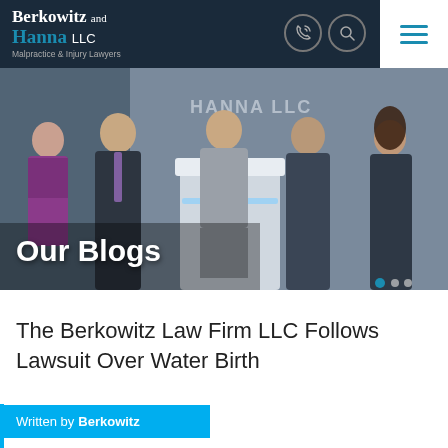Berkowitz and Hanna LLC — Malpractice & Injury Lawyers
[Figure (photo): Group photo of five law firm professionals standing at a reception desk in front of 'HANNA LLC' signage. Text overlay reads 'Our Blogs'.]
The Berkowitz Law Firm LLC Follows Lawsuit Over Water Birth
Written by Berkowitz